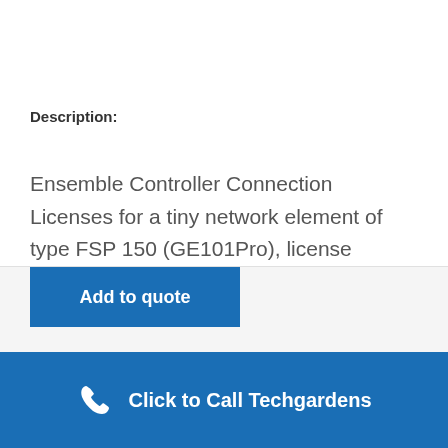Description:
Ensemble Controller Connection Licenses for a tiny network element of type FSP 150 (GE101Pro), license shipped in paper form
Add to quote
Click to Call Techgardens